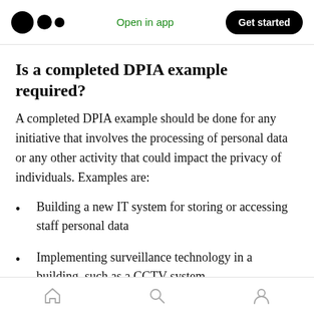Open in app | Get started
Is a completed DPIA example required?
A completed DPIA example should be done for any initiative that involves the processing of personal data or any other activity that could impact the privacy of individuals. Examples are:
Building a new IT system for storing or accessing staff personal data
Implementing surveillance technology in a building, such as a CCTV system
Using a cloud service for the storage of
Home | Search | Profile